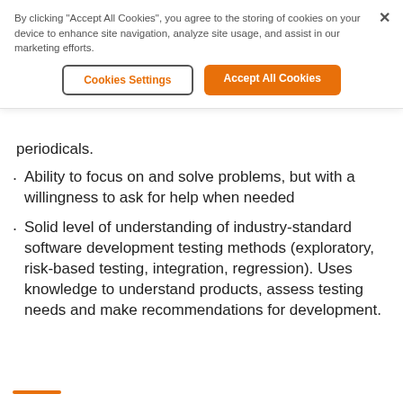By clicking "Accept All Cookies", you agree to the storing of cookies on your device to enhance site navigation, analyze site usage, and assist in our marketing efforts.
Cookies Settings
Accept All Cookies
periodicals.
Ability to focus on and solve problems, but with a willingness to ask for help when needed
Solid level of understanding of industry-standard software development testing methods (exploratory, risk-based testing, integration, regression). Uses knowledge to understand products, assess testing needs and make recommendations for development.